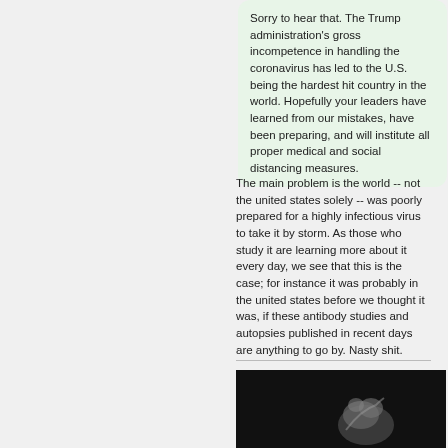Sorry to hear that. The Trump administration's gross incompetence in handling the coronavirus has led to the U.S. being the hardest hit country in the world. Hopefully your leaders have learned from our mistakes, have been preparing, and will institute all proper medical and social distancing measures.
The main problem is the world -- not the united states solely -- was poorly prepared for a highly infectious virus to take it by storm. As those who study it are learning more about it every day, we see that this is the case; for instance it was probably in the united states before we thought it was, if these antibody studies and autopsies published in recent days are anything to go by. Nasty shit.
[Figure (photo): Black and white photo of a hand/fist against a dark background]